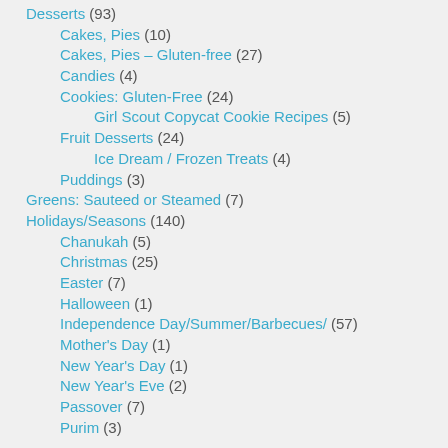Desserts (93)
Cakes, Pies (10)
Cakes, Pies – Gluten-free (27)
Candies (4)
Cookies: Gluten-Free (24)
Girl Scout Copycat Cookie Recipes (5)
Fruit Desserts (24)
Ice Dream / Frozen Treats (4)
Puddings (3)
Greens: Sauteed or Steamed (7)
Holidays/Seasons (140)
Chanukah (5)
Christmas (25)
Easter (7)
Halloween (1)
Independence Day/Summer/Barbecues/ (57)
Mother's Day (1)
New Year's Day (1)
New Year's Eve (2)
Passover (7)
Purim (3)